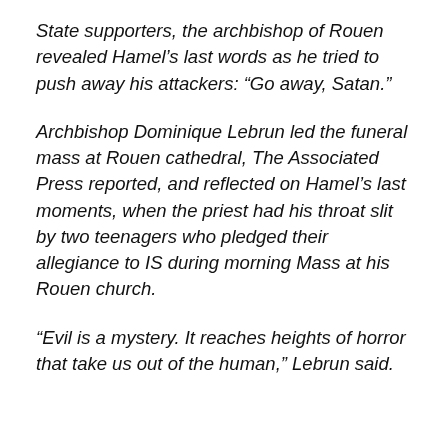State supporters, the archbishop of Rouen revealed Hamel’s last words as he tried to push away his attackers: “Go away, Satan.”
Archbishop Dominique Lebrun led the funeral mass at Rouen cathedral, The Associated Press reported, and reflected on Hamel’s last moments, when the priest had his throat slit by two teenagers who pledged their allegiance to IS during morning Mass at his Rouen church.
“Evil is a mystery. It reaches heights of horror that take us out of the human,” Lebrun said.